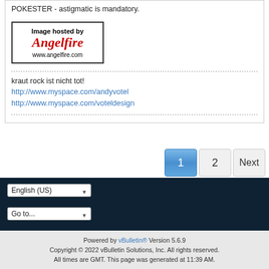POKESTER - astigmatic is mandatory.
[Figure (logo): Angelfire image hosting placeholder box with text 'Image hosted by Angelfire www.angelfire.com']
kraut rock ist nicht tot!
http://www.myspace.com/andyvotel
http://www.myspace.com/voteldesign
Pagination: 1 (active), 2, Next
Powered by vBulletin® Version 5.6.9
Copyright © 2022 vBulletin Solutions, Inc. All rights reserved.
All times are GMT. This page was generated at 11:39 AM.